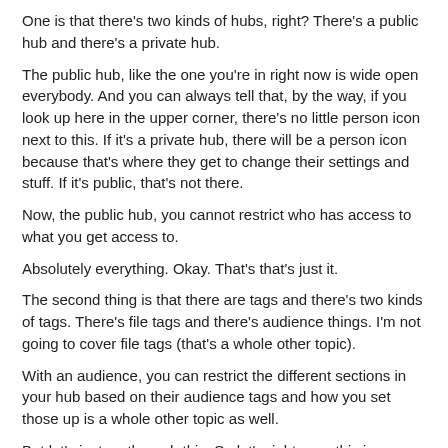One is that there's two kinds of hubs, right? There's a public hub and there's a private hub.
The public hub, like the one you're in right now is wide open everybody. And you can always tell that, by the way, if you look up here in the upper corner, there's no little person icon next to this. If it's a private hub, there will be a person icon because that's where they get to change their settings and stuff. If it's public, that's not there.
Now, the public hub, you cannot restrict who has access to what you get access to.
Absolutely everything. Okay. That's that's just it.
The second thing is that there are tags and there's two kinds of tags. There's file tags and there's audience things. I'm not going to cover file tags (that's a whole other topic).
With an audience, you can restrict the different sections in your hub based on their audience tags and how you set those up is a whole other topic as well.
But let's just go through this. So let's right now, this is a public hub.